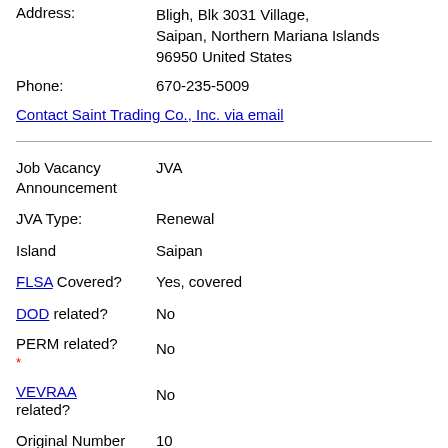Address: Bligh, Blk 3031 Village, Saipan, Northern Mariana Islands 96950 United States
Phone: 670-235-5009
Contact Saint Trading Co., Inc. via email
Job Vacancy Announcement: JVA
JVA Type: Renewal
Island: Saipan
FLSA Covered? Yes, covered
DOD related? No
PERM related? No
VEVRAA related? No
Original Number: 10